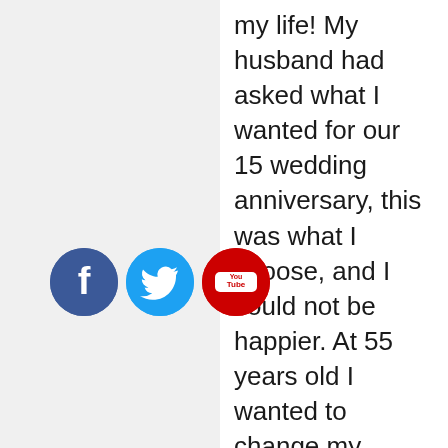my life! My husband had asked what I wanted for our 15 wedding anniversary, this was what I choose, and I could not be happier. At 55 years old I wanted to change my perception. Rhythmia delivered. The food was organic, the facility is accommodating and the staff was one of a kind, and yes I did the plant medicine. I also went back the following week with one of my staff. This will be followed by 2 of my children in a few months. Do all your research and then choose Rythmia...oh and did I mention that I got to spend 4 days with Michael Beckwith and
[Figure (illustration): Three social media icons: Facebook (blue circle with white 'f'), Twitter (light blue circle with white bird), YouTube (red circle with white 'You Tube' logo)]